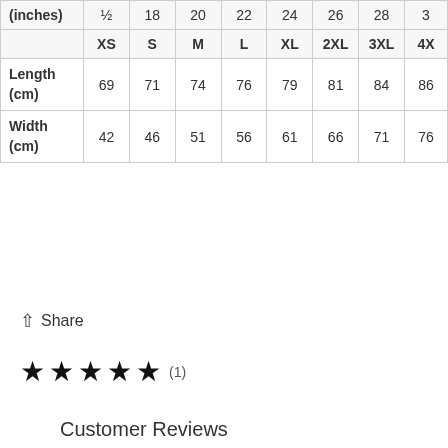|  | XS | S | M | L | XL | 2XL | 3XL | 4X… |
| --- | --- | --- | --- | --- | --- | --- | --- | --- |
| (inches) | ½ | 18 | 20 | 22 | 24 | 26 | 28 | 3… |
|  | XS | S | M | L | XL | 2XL | 3XL | 4X… |
| Length (cm) | 69 | 71 | 74 | 76 | 79 | 81 | 84 | 86 |
| Width (cm) | 42 | 46 | 51 | 56 | 61 | 66 | 71 | 76 |
↑ Share
★ ★ ★ ★ ★ (1)
Customer Reviews